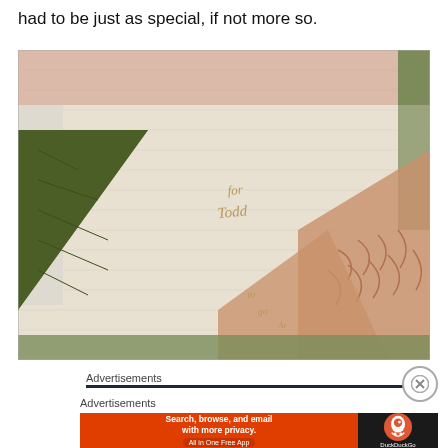had to be just as special, if not more so.
[Figure (photo): Close-up photo of a quilt with green and salmon/peach triangle patches on a cream background. Embroidered text on the quilt reads 'for Todd' with additional embroidery below.]
Advertisements
Advertisements
[Figure (screenshot): DuckDuckGo advertisement banner: orange left panel with text 'Search, browse, and email with more privacy. All in One Free App' and dark right panel with DuckDuckGo logo and name.]